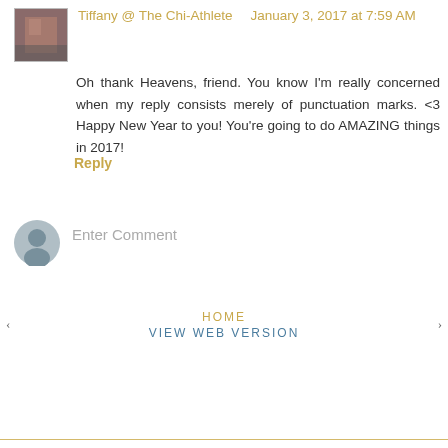Tiffany @ The Chi-Athlete   January 3, 2017 at 7:59 AM
Oh thank Heavens, friend. You know I'm really concerned when my reply consists merely of punctuation marks. <3 Happy New Year to you! You're going to do AMAZING things in 2017!
Reply
Enter Comment
HOME
VIEW WEB VERSION